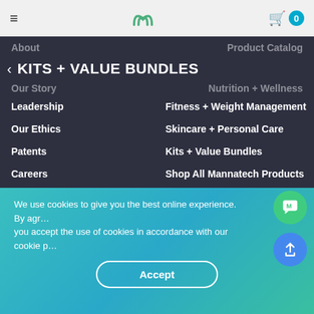Mannatech navigation bar with logo and cart (0 items)
< KITS + VALUE BUNDLES
Leadership
Fitness + Weight Management
Our Ethics
Skincare + Personal Care
Patents
Kits + Value Bundles
Careers
Shop All Mannatech Products
Investor Relations
Flipbooks
Site Info
Affiliates
We use cookies to give you the best online experience. By agreeing you accept the use of cookies in accordance with our cookie policy.
Accept
Information
DSA Distributor Educational